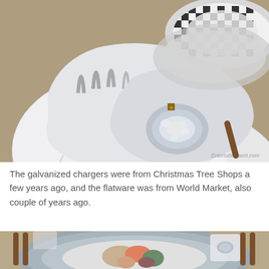[Figure (photo): Close-up of a white linen napkin with gray stripes, held by a metallic silver napkin ring with a snowflake charm. Black and white checkered plates are visible in the background on a woven table runner. Watermark reads Entertablement.com.]
The galvanized chargers were from Christmas Tree Shops a few years ago, and the flatware was from World Market, also couple of years ago.
[Figure (photo): Close-up overhead view of a table setting with galvanized charger plate, patterned plates with food, wooden-handled flatware on a burlap runner, and a white napkin with napkin ring.]